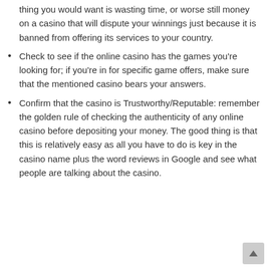thing you would want is wasting time, or worse still money on a casino that will dispute your winnings just because it is banned from offering its services to your country.
Check to see if the online casino has the games you're looking for; if you're in for specific game offers, make sure that the mentioned casino bears your answers.
Confirm that the casino is Trustworthy/Reputable: remember the golden rule of checking the authenticity of any online casino before depositing your money. The good thing is that this is relatively easy as all you have to do is key in the casino name plus the word reviews in Google and see what people are talking about the casino.